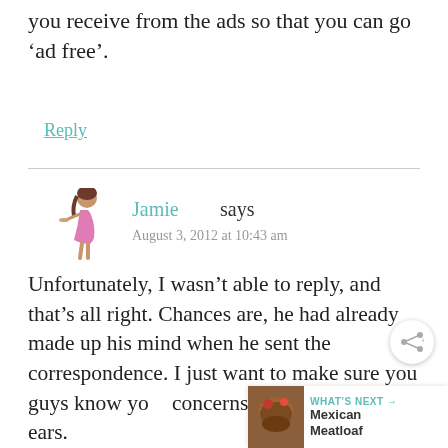you receive from the ads so that you can go ‘ad free’.
Reply
Jamie says
August 3, 2012 at 10:43 am
Unfortunately, I wasn’t able to reply, and that’s all right. Chances are, he had already made up his mind when he sent the correspondence. I just want to make sure you guys know your concerns never fall on deaf ears.